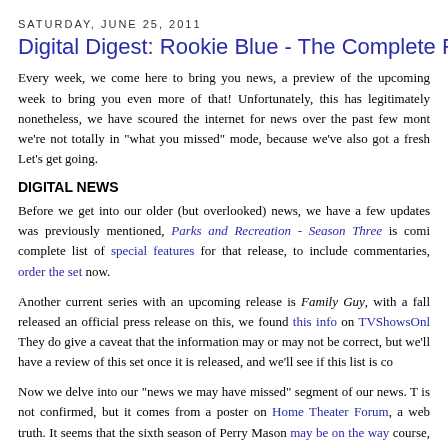SATURDAY, JUNE 25, 2011
Digital Digest: Rookie Blue - The Complete First Seaso…
Every week, we come here to bring you news, a preview of the upcoming week to bring you even more of that! Unfortunately, this has legitimately nonetheless, we have scoured the internet for news over the past few mont we're not totally in "what you missed" mode, because we've also got a fresh Let's get going.
DIGITAL NEWS
Before we get into our older (but overlooked) news, we have a few updates was previously mentioned, Parks and Recreation - Season Three is comi complete list of special features for that release, to include commentaries, order the set now.
Another current series with an upcoming release is Family Guy, with a fall released an official press release on this, we found this info on TVShowsOnl They do give a caveat that the information may or may not be correct, but we'll have a review of this set once it is released, and we'll see if this list is co
Now we delve into our "news we may have missed" segment of our news. T is not confirmed, but it comes from a poster on Home Theater Forum, a web truth. It seems that the sixth season of Perry Mason may be on the way course, this is NOT anything official, and we'll let you know when (and if) this
Back in January, a lot of information came out directly from Shout! Factory o fans of Mad About You. Although they did pick up the rights for a few seaso